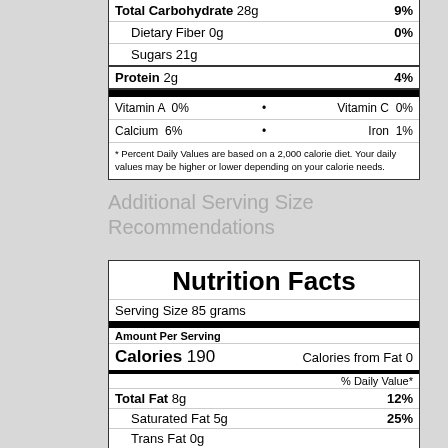| Nutrient | Amount | % DV |
| --- | --- | --- |
| Total Carbohydrate | 28g | 9% |
| Dietary Fiber | 0g | 0% |
| Sugars | 21g |  |
| Protein | 2g | 4% |
Vitamin A  0%  •  Vitamin C  0%
Calcium  6%  •  Iron  1%
* Percent Daily Values are based on a 2,000 calorie diet. Your daily values may be higher or lower depending on your calorie needs.
Additional Serving Size Recommendations
Nutrition Facts
Serving Size 85 grams
Amount Per Serving
Calories 190   Calories from Fat 0
% Daily Value*
| Nutrient | Amount | % DV |
| --- | --- | --- |
| Total Fat | 8g | 12% |
| Saturated Fat | 5g | 25% |
| Trans Fat | 0g |  |
| Cholesterol | 30mg | 10% |
| Sodium | 75mg | 3% |
| Potassium | 0mg | 0% |